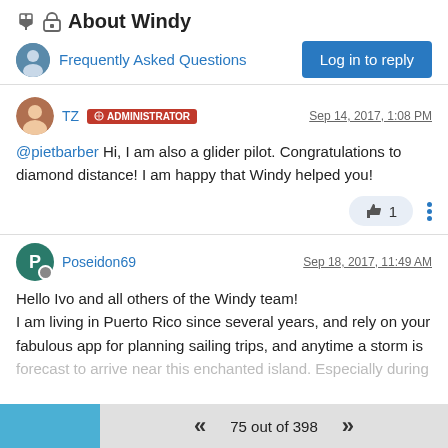📌🔒 About Windy
Frequently Asked Questions
Log in to reply
TZ ADMINISTRATOR  Sep 14, 2017, 1:08 PM
@pietbarber Hi, I am also a glider pilot. Congratulations to diamond distance! I am happy that Windy helped you!
👍 1
Poseidon69  Sep 18, 2017, 11:49 AM
Hello Ivo and all others of the Windy team!
I am living in Puerto Rico since several years, and rely on your fabulous app for planning sailing trips, and anytime a storm is forecast to arrive near this enchanted island. Especially during
75 out of 398